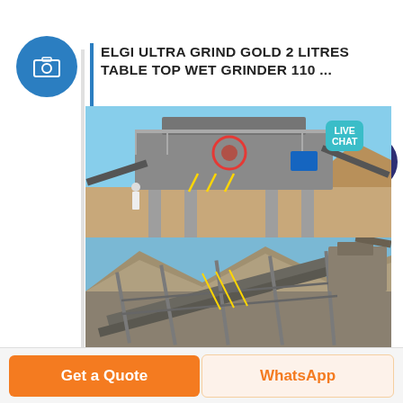ELGI ULTRA GRIND GOLD 2 LITRES TABLE TOP WET GRINDER 110 ...
[Figure (photo): Two photographs of industrial mining/crushing equipment. Top photo shows a large impact crusher or cone crusher on elevated concrete pillars at a quarry or mining site, with conveyor belts and a circular highlighted mechanical component. Bottom photo shows conveyor belts and structural steel framework at a mining facility with a rocky hillside in the background.]
Get a Quote
WhatsApp